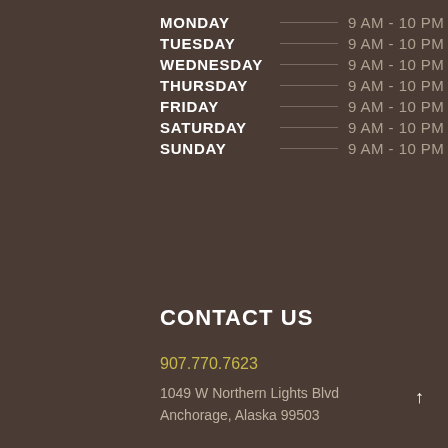MONDAY — 9 AM - 10 PM
TUESDAY — 9 AM - 10 PM
WEDNESDAY — 9 AM - 10 PM
THURSDAY — 9 AM - 10 PM
FRIDAY — 9 AM - 10 PM
SATURDAY — 9 AM - 10 PM
SUNDAY — 9 AM - 10 PM
CONTACT US
907.770.7623
1049 W Northern Lights Blvd
Anchorage, Alaska 99503